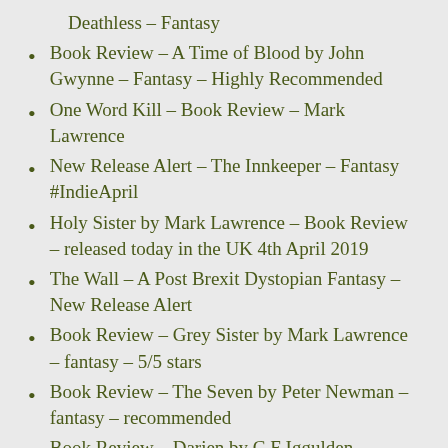Deathless – Fantasy
Book Review – A Time of Blood by John Gwynne – Fantasy – Highly Recommended
One Word Kill – Book Review – Mark Lawrence
New Release Alert – The Innkeeper – Fantasy #IndieApril
Holy Sister by Mark Lawrence – Book Review – released today in the UK 4th April 2019
The Wall – A Post Brexit Dystopian Fantasy – New Release Alert
Book Review – Grey Sister by Mark Lawrence – fantasy – 5/5 stars
Book Review – The Seven by Peter Newman – fantasy – recommended
Book Review – Darien by C F Iggulden –